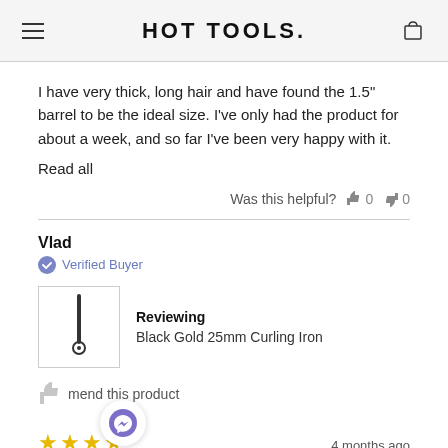HOT TOOLS.
I have very thick, long hair and have found the 1.5" barrel to be the ideal size. I've only had the product for about a week, and so far I've been very happy with it.
Read all
Was this helpful? 0 0
Vlad
Verified Buyer
Reviewing Black Gold 25mm Curling Iron
mend this product
4 months ago